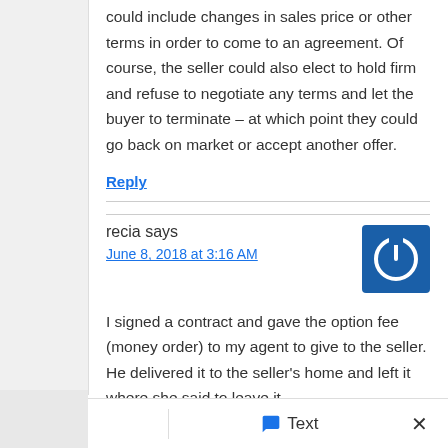could include changes in sales price or other terms in order to come to an agreement. Of course, the seller could also elect to hold firm and refuse to negotiate any terms and let the buyer to terminate – at which point they could go back on market or accept another offer.
Reply
recia says
June 8, 2018 at 3:16 AM
I signed a contract and gave the option fee (money order) to my agent to give to the seller. He delivered it to the seller's home and left it where she said to leave it.
Call   Text